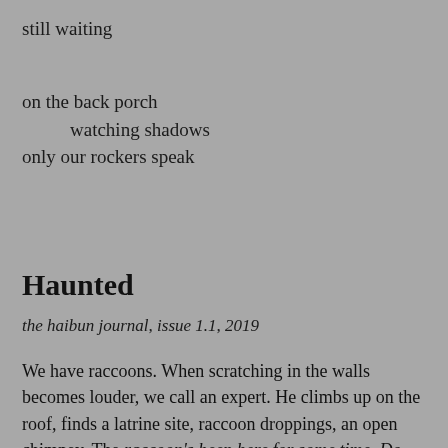still waiting
on the back porch
		watching shadows
only our rockers speak
Haunted
the haibun journal, issue 1.1, 2019
We have raccoons. When scratching in the walls becomes louder, we call an expert. He climbs up on the roof, finds a latrine site, raccoon droppings, an open chimney. The raccoon's been here for some time. Do you have an ash pit? We do and all of us trudge downstairs. When our